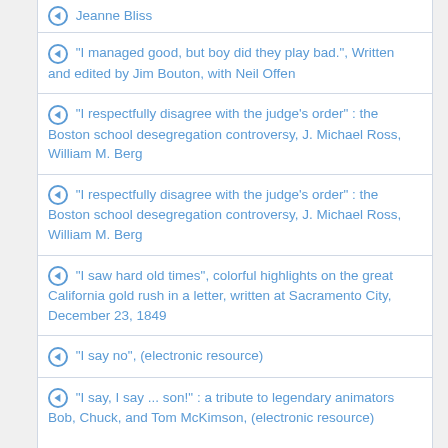Jeanne Bliss
"I managed good, but boy did they play bad.", Written and edited by Jim Bouton, with Neil Offen
"I respectfully disagree with the judge's order" : the Boston school desegregation controversy, J. Michael Ross, William M. Berg
"I respectfully disagree with the judge's order" : the Boston school desegregation controversy, J. Michael Ross, William M. Berg
"I saw hard old times", colorful highlights on the great California gold rush in a letter, written at Sacramento City, December 23, 1849
"I say no", (electronic resource)
"I say, I say ... son!" : a tribute to legendary animators Bob, Chuck, and Tom McKimson, (electronic resource)